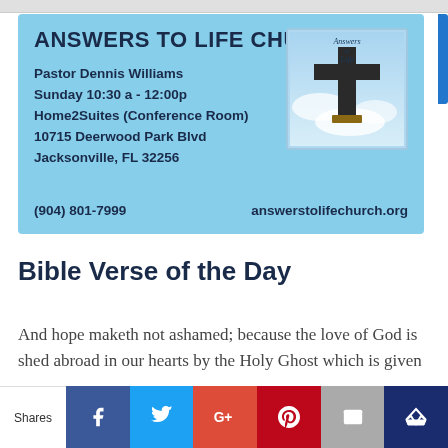[Figure (infographic): Church advertisement card on light blue background. Text: ANSWERS TO LIFE CHURCH, Pastor Dennis Williams, Sunday 10:30 a - 12:00p, Home2Suites (Conference Room), 10715 Deerwood Park Blvd, Jacksonville, FL 32256, (904) 801-7999, answerstolifechurch.org. Logo image of cross in clouds with 'Answers to Life' text.]
Bible Verse of the Day
And hope maketh not ashamed; because the love of God is shed abroad in our hearts by the Holy Ghost which is given
Shares | Facebook | Twitter | G+ | Pinterest | Email | Crown